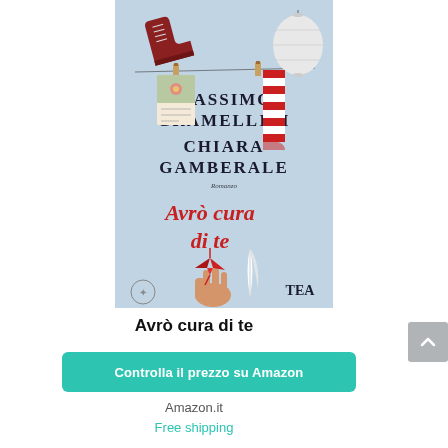[Figure (illustration): Book cover of 'Avrò cura di te' by Massimo Gramellini and Chiara Gamberale, published by TEA. Light blue background with a clothesline showing hanging items: a red boot, a paper lantern, a postcard, red and white striped stocking, a hand holding a red origami bird, and a white feather. Authors' names in dark serif font at top, book title in red italic font in the middle.]
Avrò cura di te
Controlla il prezzo su Amazon
Amazon.it
Free shipping